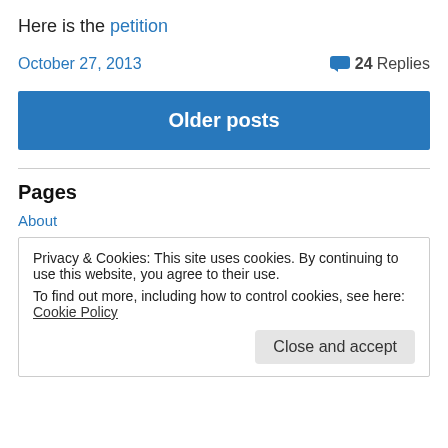Here is the petition
October 27, 2013   24 Replies
Older posts
Pages
About
Privacy & Cookies: This site uses cookies. By continuing to use this website, you agree to their use.
To find out more, including how to control cookies, see here: Cookie Policy
Close and accept